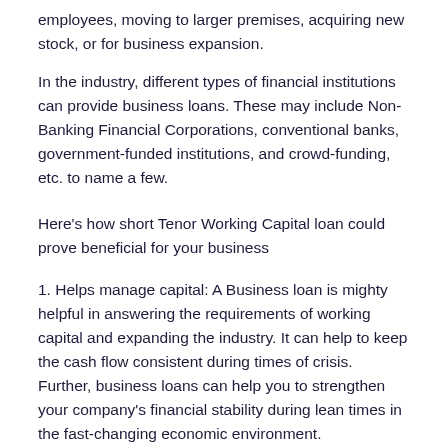employees, moving to larger premises, acquiring new stock, or for business expansion.
In the industry, different types of financial institutions can provide business loans. These may include Non-Banking Financial Corporations, conventional banks, government-funded institutions, and crowd-funding, etc. to name a few.
Here's how short Tenor Working Capital loan could prove beneficial for your business
1. Helps manage capital: A Business loan is mighty helpful in answering the requirements of working capital and expanding the industry. It can help to keep the cash flow consistent during times of crisis. Further, business loans can help you to strengthen your company's financial stability during lean times in the fast-changing economic environment.
2. Flexibility: In accordance with your financial requirements, you can